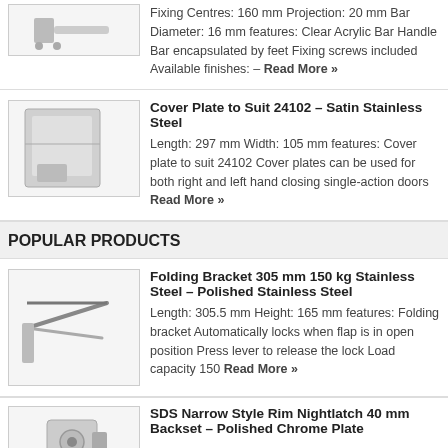Fixing Centres: 160 mm Projection: 20 mm Bar Diameter: 16 mm features: Clear Acrylic Bar Handle Bar encapsulated by feet Fixing screws included Available finishes: – Read More »
Cover Plate to Suit 24102 – Satin Stainless Steel
Length: 297 mm Width: 105 mm features: Cover plate to suit 24102 Cover plates can be used for both right and left hand closing single-action doors Read More »
POPULAR PRODUCTS
Folding Bracket 305 mm 150 kg Stainless Steel – Polished Stainless Steel
Length: 305.5 mm Height: 165 mm features: Folding bracket Automatically locks when flap is in open position Press lever to release the lock Load capacity 150 Read More »
SDS Narrow Style Rim Nightlatch 40 mm Backset – Polished Chrome Plate